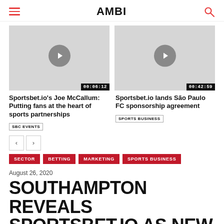AMBI
[Figure (screenshot): Video thumbnail with play button and duration 00:06:12]
[Figure (screenshot): Video thumbnail with play button and duration 00:42:59]
Sportsbet.io's Joe McCallum: Putting fans at the heart of sports partnerships
SBC EVENTS
Sportsbet.io lands São Paulo FC sponsorship agreement
SPORTS BUSINESS
SECTOR  BETTING  MARKETING  SPORTS BUSINESS
August 26, 2020
SOUTHAMPTON REVEALS SPORTSBET.IO AS NEW